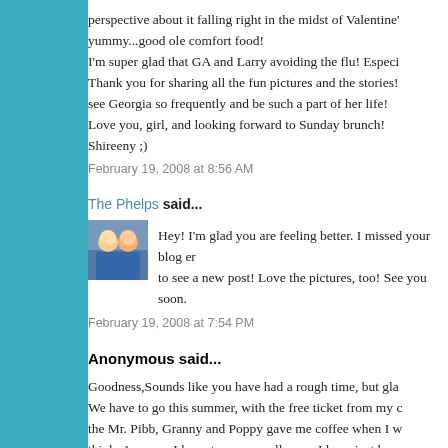perspective about it falling right in the midst of Valentine'... yummy...good ole comfort food! I'm super glad that GA and Larry avoiding the flu! Especi... Thank you for sharing all the fun pictures and the stories!... see Georgia so frequently and be such a part of her life! Love you, girl, and looking forward to Sunday brunch! Shireeny ;)
February 19, 2008 at 8:56 AM
The Phelps said...
Hey! I'm glad you are feeling better. I missed your blog en... to see a new post! Love the pictures, too! See you soon.
February 19, 2008 at 7:54 PM
Anonymous said...
Goodness,Sounds like you have had a rough time, but gla... We have to go this summer, with the free ticket from my c... the Mr. Pibb, Granny and Poppy gave me coffee when I w... think. Anyway, I hope to see you all soon. I have just beer...